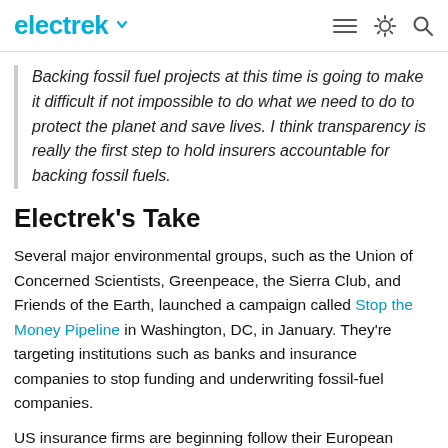electrek
Backing fossil fuel projects at this time is going to make it difficult if not impossible to do what we need to do to protect the planet and save lives. I think transparency is really the first step to hold insurers accountable for backing fossil fuels.
Electrek's Take
Several major environmental groups, such as the Union of Concerned Scientists, Greenpeace, the Sierra Club, and Friends of the Earth, launched a campaign called Stop the Money Pipeline in Washington, DC, in January. They're targeting institutions such as banks and insurance companies to stop funding and underwriting fossil-fuel companies.
US insurance firms are beginning follow their European